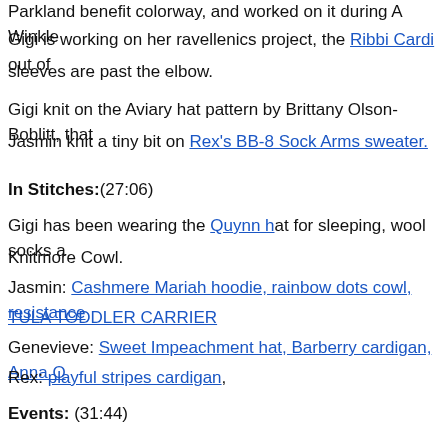Parkland benefit colorway, and worked on it during A Wrinkle [in Time].
Gigi is working on her ravellenics project, the Ribbi Cardi out of [yarn]… sleeves are past the elbow.
Gigi knit on the Aviary hat pattern by Brittany Olson-Boblitt, that [...]
Jasmin knit a tiny bit on Rex's BB-8 Sock Arms sweater.
In Stitches:(27:06)
Gigi has been wearing the Quynn hat for sleeping, wool socks a[nd] Knitmore Cowl.
Jasmin: Cashmere Mariah hoodie, rainbow dots cowl, resistance[...] TULA TODDLER CARRIER
Genevieve: Sweet Impeachment hat, Barberry cardigan, Anna O[...]
Rex: playful stripes cardigan,
Events: (31:44)
Spinning at the Retzlaff Winery May 19, 2018
Mother Knows Best:(33:26)
The Vacation Yarn Rules